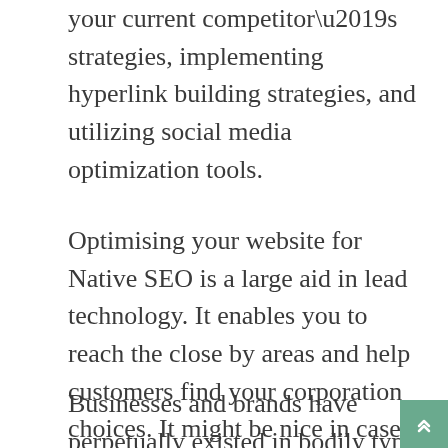your current competitor’s strategies, implementing hyperlink building strategies, and utilizing social media optimization tools.
Optimising your website for Native SEO is a large aid in lead technology. It enables you to reach the close by areas and help customers find your corporation choices. It might be nice in case you assure that your title, address, and phone quantity are constant in your website and different listings.
Businesses and brands have perpetually existed in bodily types because that was the norm. With